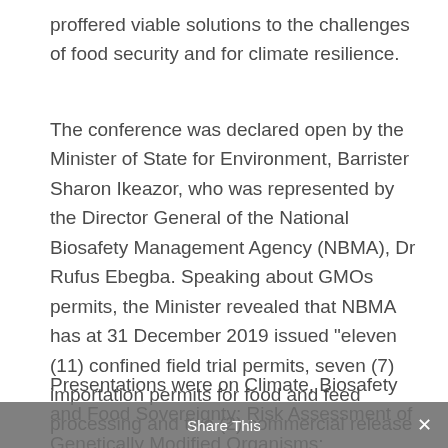proffered viable solutions to the challenges of food security and for climate resilience.
The conference was declared open by the Minister of State for Environment, Barrister Sharon Ikeazor, who was represented by the Director General of the National Biosafety Management Agency (NBMA), Dr Rufus Ebegba. Speaking about GMOs permits, the Minister revealed that NBMA has at 31 December 2019 issued "eleven (11) confined field trial permits, seven (7) importation permits for food and feed processing and two (2) commercial release permits."
Presentations were on Climate, Biosafety and Food Sovereignty; Risk Assessment of Genetically Modified Organisms; Communicating the Right to Safe Food; Healthy Soils, Healthy Food, Healthy Society; and
Share This ×